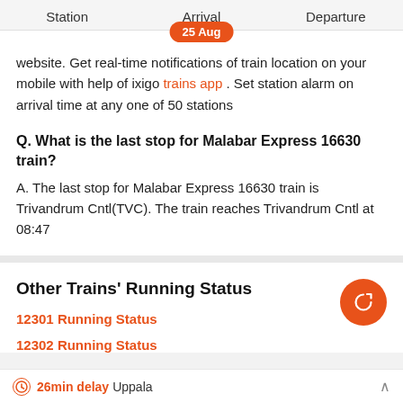Station   Arrival   Departure
25 Aug
website. Get real-time notifications of train location on your mobile with help of ixigo trains app . Set station alarm on arrival time at any one of 50 stations
Q. What is the last stop for Malabar Express 16630 train?
A. The last stop for Malabar Express 16630 train is Trivandrum Cntl(TVC). The train reaches Trivandrum Cntl at 08:47
Other Trains' Running Status
12301 Running Status
12302 Running Status
26min delay Uppala